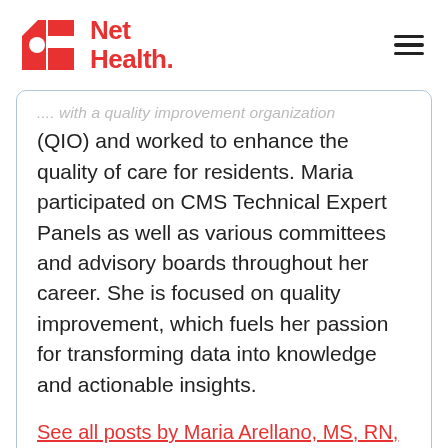Net Health
... with a quality improvement organization (QIO) and worked to enhance the quality of care for residents. Maria participated on CMS Technical Expert Panels as well as various committees and advisory boards throughout her career. She is focused on quality improvement, which fuels her passion for transforming data into knowledge and actionable insights.
See all posts by Maria Arellano, MS, RN, RAC-CT